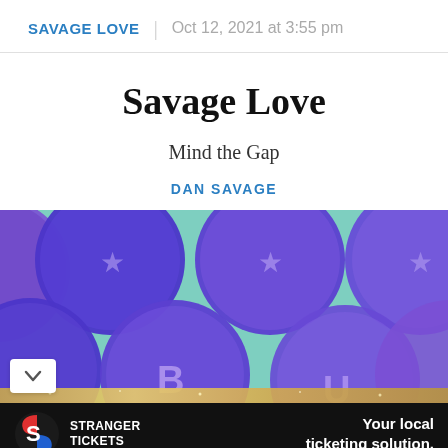SAVAGE LOVE | Oct 12, 2021 at 3:55 pm
Savage Love
Mind the Gap
DAN SAVAGE
[Figure (photo): Decorative photo of large blue and purple polka-dot balloons or spheres with letters on them, arranged against a light teal/mint background with gold glitter accents at the bottom. Letters visible include A, B, U.]
[Figure (infographic): Advertisement banner for Stranger Tickets. Black background. Left: Stranger Tickets logo (circular S logo in red/blue). Center: 'STRANGER TICKETS' in white bold text. Right: 'Your local ticketing solution.' in white bold text.]